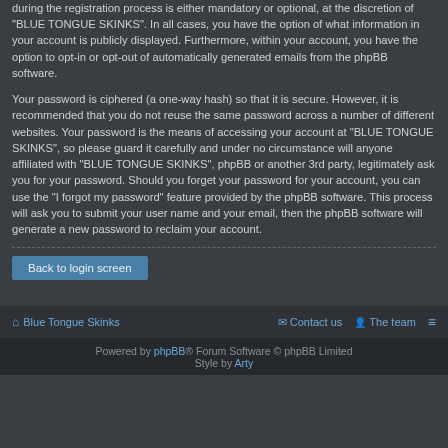during the registration process is either mandatory or optional, at the discretion of "BLUE TONGUE SKINKS". In all cases, you have the option of what information in your account is publicly displayed. Furthermore, within your account, you have the option to opt-in or opt-out of automatically generated emails from the phpBB software.
Your password is ciphered (a one-way hash) so that it is secure. However, it is recommended that you do not reuse the same password across a number of different websites. Your password is the means of accessing your account at "BLUE TONGUE SKINKS", so please guard it carefully and under no circumstance will anyone affiliated with "BLUE TONGUE SKINKS", phpBB or another 3rd party, legitimately ask you for your password. Should you forget your password for your account, you can use the "I forgot my password" feature provided by the phpBB software. This process will ask you to submit your user name and your email, then the phpBB software will generate a new password to reclaim your account.
Back to login screen
Blue Tongue Skinks   Contact us   The team   ≡
Powered by phpBB® Forum Software © phpBB Limited Style by Arty